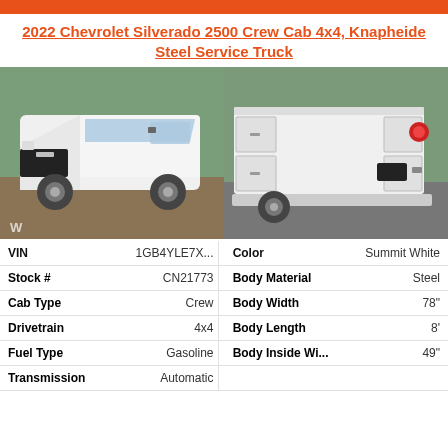2022 Chevrolet Silverado 2500 Crew Cab 4x4, Knapheide Steel Service Truck
[Figure (photo): Front 3/4 view of a white 2022 Chevrolet Silverado 2500 Crew Cab truck parked on gravel]
[Figure (photo): Rear 3/4 view of a white Knapheide steel service truck body mounted on the Silverado 2500]
| Field | Value | Field | Value |
| --- | --- | --- | --- |
| VIN | 1GB4YLE7X... | Color | Summit White |
| Stock # | CN21773 | Body Material | Steel |
| Cab Type | Crew | Body Width | 78" |
| Drivetrain | 4x4 | Body Length | 8' |
| Fuel Type | Gasoline | Body Inside Wi... | 49" |
| Transmission | Automatic |  |  |